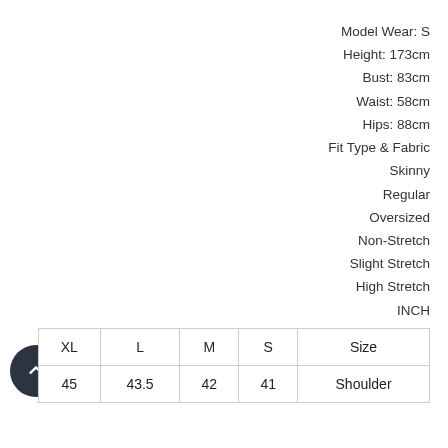Model Wear: S
Height: 173cm
Bust: 83cm
Waist: 58cm
Hips: 88cm
Fit Type & Fabric
Skinny
Regular
Oversized
Non-Stretch
Slight Stretch
High Stretch
INCH
| XL | L | M | S | Size |
| --- | --- | --- | --- | --- |
| 45 | 43.5 | 42 | 41 | Shoulder |